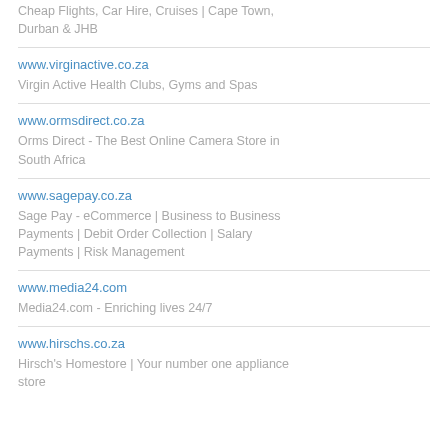Cheap Flights, Car Hire, Cruises | Cape Town, Durban & JHB
www.virginactive.co.za
Virgin Active Health Clubs, Gyms and Spas
www.ormsdirect.co.za
Orms Direct - The Best Online Camera Store in South Africa
www.sagepay.co.za
Sage Pay - eCommerce | Business to Business Payments | Debit Order Collection | Salary Payments | Risk Management
www.media24.com
Media24.com - Enriching lives 24/7
www.hirschs.co.za
Hirsch's Homestore | Your number one appliance store